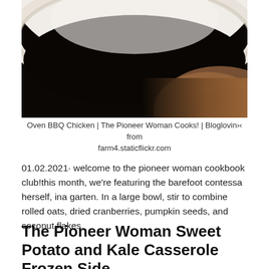[Figure (photo): Close-up photo of a white ceramic bowl or plate rim against a dark background, with warm brown tones in the lower right corner suggesting a wooden surface or food item.]
Oven BBQ Chicken | The Pioneer Woman Cooks! | Bloglovin‹› from farm4.staticflickr.com
01.02.2021· welcome to the pioneer woman cookbook club!this month, we’re featuring the barefoot contessa herself, ina garten. In a large bowl, stir to combine rolled oats, dried cranberries, pumpkin seeds, and coconut flakes.
The Pioneer Woman Sweet Potato and Kale Casserole Frozen Side